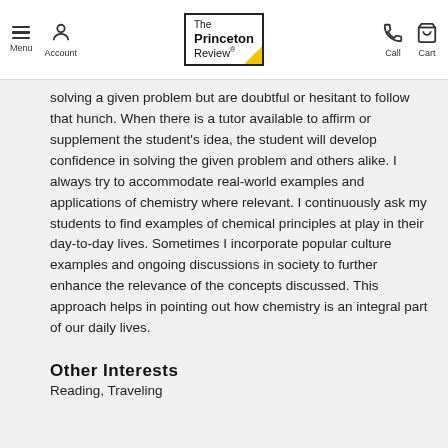Menu | Account | The Princeton Review | Call | Cart
solving a given problem but are doubtful or hesitant to follow that hunch. When there is a tutor available to affirm or supplement the student's idea, the student will develop confidence in solving the given problem and others alike. I always try to accommodate real-world examples and applications of chemistry where relevant. I continuously ask my students to find examples of chemical principles at play in their day-to-day lives. Sometimes I incorporate popular culture examples and ongoing discussions in society to further enhance the relevance of the concepts discussed. This approach helps in pointing out how chemistry is an integral part of our daily lives.
Other Interests
Reading, Traveling